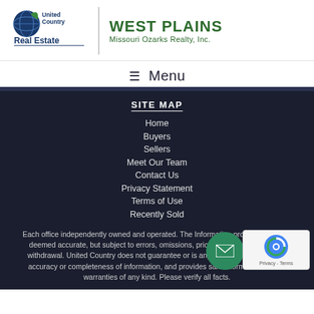[Figure (logo): United Country Real Estate logo with globe icon on left, vertical divider, then West Plains Missouri Ozarks Realty Inc text on right in green]
☰ Menu
SITE MAP
Home
Buyers
Sellers
Meet Our Team
Contact Us
Privacy Statement
Terms of Use
Recently Sold
Each office independently owned and operated. The Information provided herein is deemed accurate, but subject to errors, omissions, price changes, prior sale or withdrawal. United Country does not guarantee or is anyway responsible for the accuracy or completeness of information, and provides said information without warranties of any kind. Please verify all facts.